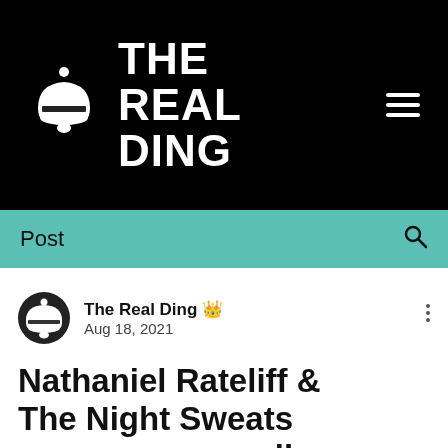[Figure (logo): The Real Ding website header — black background with a white bell icon and bold white text 'THE REAL DING', plus a hamburger menu icon on the right]
Post
The Real Ding 👑  Aug 18, 2021
Nathaniel Rateliff & The Night Sweats announce new album 'The Future'